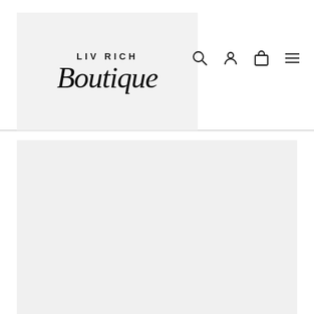[Figure (logo): Liv Rich Boutique logo on light gray background. 'LIV RICH' in spaced uppercase letters above 'Boutique' in large italic script.]
[Figure (infographic): Navigation bar icons: search (magnifying glass), account (person silhouette), cart (shopping bag), and menu (hamburger/three lines).]
[Figure (other): Large light gray placeholder/image area below the header navigation bar.]